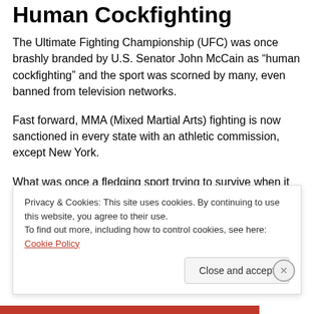Human Cockfighting
The Ultimate Fighting Championship (UFC) was once brashly branded by U.S. Senator John McCain as “human cockfighting” and the sport was scorned by many, even banned from television networks.
Fast forward, MMA (Mixed Martial Arts) fighting is now sanctioned in every state with an athletic commission, except New York.
What was once a fledging sport trying to survive when it first appeared at the Manhattan, Dan Forster, Center on the...
Privacy & Cookies: This site uses cookies. By continuing to use this website, you agree to their use.
To find out more, including how to control cookies, see here: Cookie Policy
Close and accept